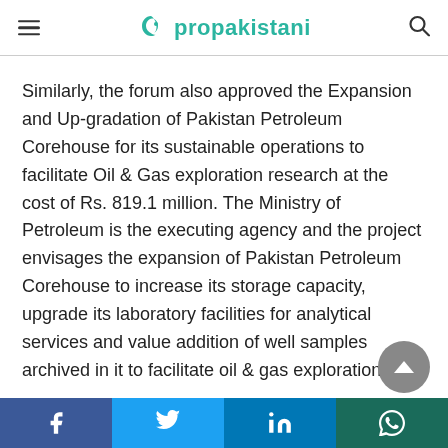ProPakistani
Similarly, the forum also approved the Expansion and Up-gradation of Pakistan Petroleum Corehouse for its sustainable operations to facilitate Oil & Gas exploration research at the cost of Rs. 819.1 million. The Ministry of Petroleum is the executing agency and the project envisages the expansion of Pakistan Petroleum Corehouse to increase its storage capacity, upgrade its laboratory facilities for analytical services and value addition of well samples archived in it to facilitate oil & gas exploration.